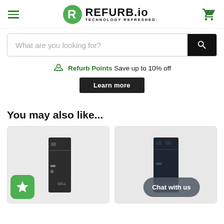[Figure (logo): REFURB.io logo with green R icon and tagline TECHNOLOGY REFRESHED, hamburger menu on left, cart icon on right]
What are you looking for?
🏆 Refurb Points Save up to 10% off
Learn more
You may also like...
[Figure (photo): Product card showing a Dell desktop tower computer with a green star badge in the bottom left corner]
[Figure (screenshot): Product card showing a dark desktop computer with Chat with us bubble overlay]